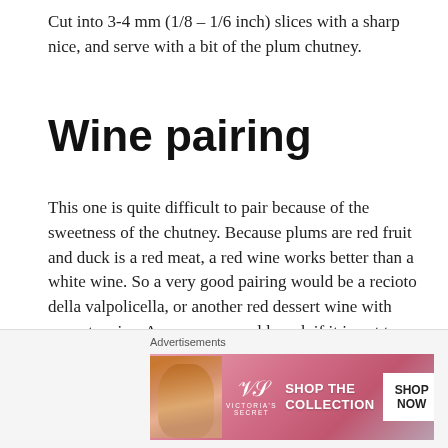Cut into 3-4 mm (1/8 – 1/6 inch) slices with a sharp nice, and serve with a bit of the plum chutney.
Wine pairing
This one is quite difficult to pair because of the sweetness of the chutney. Because plums are red fruit and duck is a red meat, a red wine works better than a white wine. So a very good pairing would be a recioto della valpolicella, or another red dessert wine with some tannins. An amarone could work if it is not too dry. Another option would be a port.
[Figure (other): Victoria's Secret advertisement banner with model photo, VS logo, 'SHOP THE COLLECTION' text, and 'SHOP NOW' button]